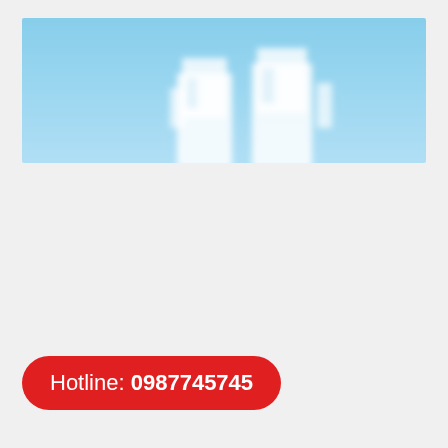[Figure (photo): Blurry photo of two white modern buildings against a clear blue sky, cropped at bottom showing only the upper portion of the structures]
Hotline: 0987745745